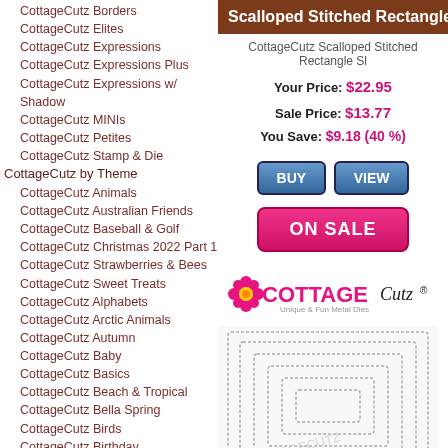CottageCutz Borders
CottageCutz Elites
CottageCutz Expressions
CottageCutz Expressions Plus
CottageCutz Expressions w/ Shadow
CottageCutz MINIs
CottageCutz Petites
CottageCutz Stamp & Die
CottageCutz by Theme
CottageCutz Animals
CottageCutz Australian Friends
CottageCutz Baseball & Golf
CottageCutz Christmas 2022 Part 1
CottageCutz Strawberries & Bees
CottageCutz Sweet Treats
CottageCutz Alphabets
CottageCutz Arctic Animals
CottageCutz Autumn
CottageCutz Baby
CottageCutz Basics
CottageCutz Beach & Tropical
CottageCutz Bella Spring
CottageCutz Birds
CottageCutz Birthday
CottageCutz Campin Out
CottageCutz Camping
CottageCutz Christmas
CottageCutz Christmas 2021
CottageCutz Christmas 2021 Part 2
CottageCutz Circus
CottageCutz Country Farm
Scalloped Stitched Rectangle Sl
CottageCutz Scalloped Stitched Rectangle Sl
Your Price: $22.95
Sale Price: $13.77
You Save: $9.18 (40 %)
[Figure (other): BUY and VIEW buttons]
[Figure (other): ON SALE button]
[Figure (logo): CottageCutz logo with flower and tagline Unique & Fun Metal Dies]
[Figure (photo): Product image of scalloped stitched rectangle die set showing nested rectangle frames]